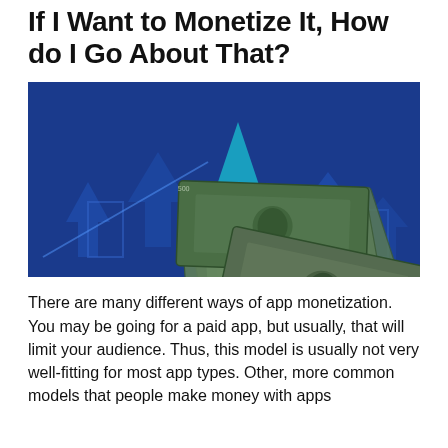If I Want to Monetize It, How do I Go About That?
[Figure (illustration): Illustration of US dollar bills fanned out on a blue background with upward-pointing arrows suggesting financial growth and monetization.]
There are many different ways of app monetization. You may be going for a paid app, but usually, that will limit your audience. Thus, this model is usually not very well-fitting for most app types. Other, more common models that people make money with apps